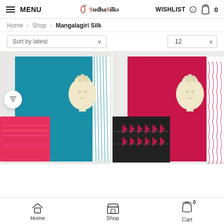MENU | SudhasilkS | WISHLIST 0
Home > Shop > Mangalagiri Silk
Sort by latest | 12
[Figure (photo): Blue Mangalagiri silk fabric with Buddha head statue and colorful woven blouse piece, with fringe border]
[Figure (photo): Red/pink Mangalagiri silk fabric with Buddha head statue and black ikat woven blouse piece, with fringe border]
Home | Shop | Cart 0